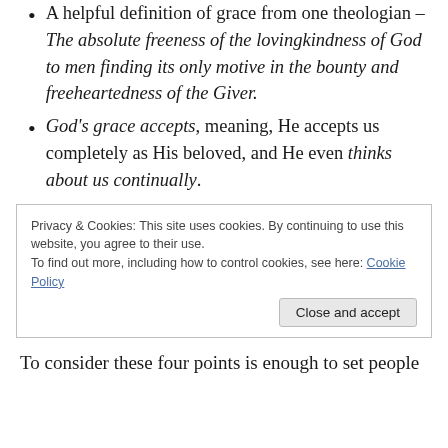A helpful definition of grace from one theologian – The absolute freeness of the lovingkindness of God to men finding its only motive in the bounty and freeheartedness of the Giver.
God's grace accepts, meaning, He accepts us completely as His beloved, and He even thinks about us continually.
Privacy & Cookies: This site uses cookies. By continuing to use this website, you agree to their use.
To find out more, including how to control cookies, see here: Cookie Policy
Close and accept
To consider these four points is enough to set people